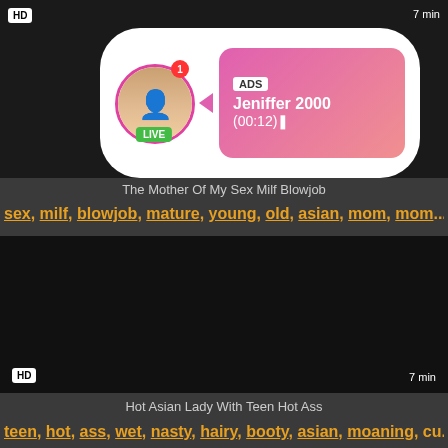[Figure (screenshot): Dark video thumbnail with HD badge top-left and time badge top-right, overlaid with an ad popup showing a profile avatar with LIVE badge, notification dot, and pink gradient ad content box for Jeniffer 2000 (00:12)]
The Mother Of My Sex Milf Blowjob
sex, milf, blowjob, mature, young, old, asian, mom, mom...
[Figure (screenshot): Black video thumbnail with HD badge bottom-left and 7 min badge bottom-right]
Hot Asian Lady With Teen Hot Ass
teen, hot, ass, wet, nasty, hairy, booty, asian, moaning, cu...